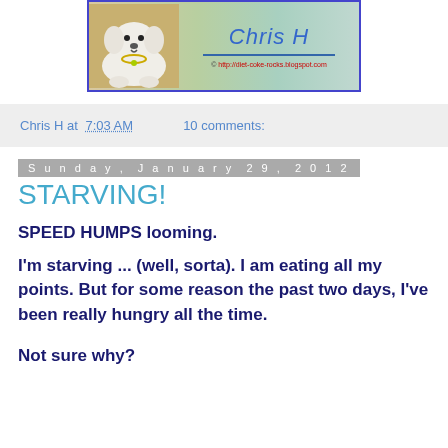[Figure (photo): Blog banner showing a small white fluffy dog lying on a patterned surface on the left side, and on the right side a light green/teal background with 'Chris H' written in blue cursive handwriting with a blue underline and the URL http://diet-coke-rocks.blogspot.com in small red text at the bottom. The banner has a blue border.]
Chris H at 7:03 AM    10 comments:
Sunday, January 29, 2012
STARVING!
SPEED HUMPS looming.
I'm starving ... (well, sorta).  I am eating all my points.  But for some reason the past two days, I've been really hungry all the time.
Not sure why?